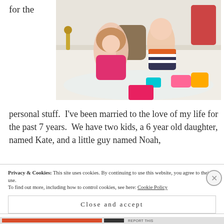for the
[Figure (photo): Two young children in a bathtub — a girl in a pink swimsuit and a toddler boy in striped shorts — surrounded by bath toys]
personal stuff.  I've been married to the love of my life for the past 7 years.  We have two kids, a 6 year old daughter, named Kate, and a little guy named Noah,
Privacy & Cookies: This site uses cookies. By continuing to use this website, you agree to their use.
To find out more, including how to control cookies, see here: Cookie Policy
Close and accept